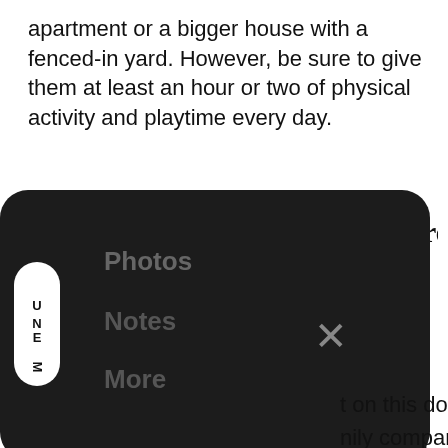apartment or a bigger house with a fenced-in yard. However, be sure to give them at least an hour or two of physical activity and playtime every day.
[Figure (screenshot): Dark mobile navigation menu overlay panel with MENU pill button on left, showing menu items (Photos, Notes, More) in gray text and an X close button in center]
rier – A Great
t on this dog breed nily companion. For instance, they're loyal and affectionate with their family members. They're also good with young children, other dogs, and meeting new people. However, you'll want to give them plenty of early training and early socialization.